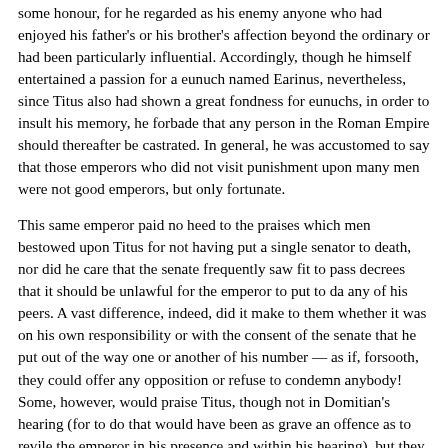some honour, for he regarded as his enemy anyone who had enjoyed his father's or his brother's affection beyond the ordinary or had been particularly influential. Accordingly, though he himself entertained a passion for a eunuch named Earinus, nevertheless, since Titus also had shown a great fondness for eunuchs, in order to insult his memory, he forbade that any person in the Roman Empire should thereafter be castrated. In general, he was accustomed to say that those emperors who did not visit punishment upon many men were not good emperors, but only fortunate.
This same emperor paid no heed to the praises which men bestowed upon Titus for not having put a single senator to death, nor did he care that the senate frequently saw fit to pass decrees that it should be unlawful for the emperor to put to da any of his peers. A vast difference, indeed, did it make to them whether it was on his own responsibility or with the consent of the senate that he put out of the way one or another of his number — as if, forsooth, they could offer any opposition or refuse to condemn anybody! Some, however, would praise Titus, though not in Domitian's hearing (for to do that would have been as grave an offence as to revile the emperor in his presence and within his hearing), but they would do so among themselves, so that he hated them because he well knew that they were doing this secretly. And indeed there was something else that resembled play-acting; for Domitian pretended that he himself loved his brother and mourned him, and he